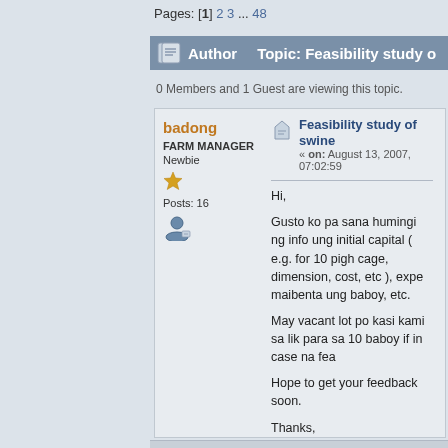Pages: [1] 2 3 ... 48
Author   Topic: Feasibility study o
0 Members and 1 Guest are viewing this topic.
badong
FARM MANAGER
Newbie
Posts: 16
Feasibility study of swine
« on: August 13, 2007, 07:02:59

Hi,

Gusto ko pa sana humingi ng info ung initial capital ( e.g. for 10 pigh cage, dimension, cost, etc ), expe maibenta ung baboy, etc.

May vacant lot po kasi kami sa lik para sa 10 baboy if in case na fea

Hope to get your feedback soon.

Thanks,
Badong